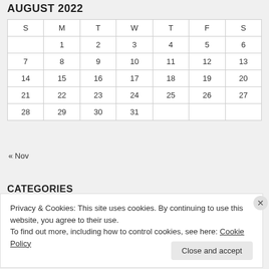AUGUST 2022
| S | M | T | W | T | F | S |
| --- | --- | --- | --- | --- | --- | --- |
|  | 1 | 2 | 3 | 4 | 5 | 6 |
| 7 | 8 | 9 | 10 | 11 | 12 | 13 |
| 14 | 15 | 16 | 17 | 18 | 19 | 20 |
| 21 | 22 | 23 | 24 | 25 | 26 | 27 |
| 28 | 29 | 30 | 31 |  |  |  |
« Nov
CATEGORIES
Privacy & Cookies: This site uses cookies. By continuing to use this website, you agree to their use.
To find out more, including how to control cookies, see here: Cookie Policy
Close and accept